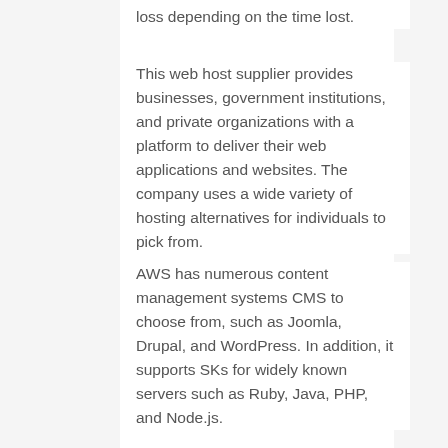loss depending on the time lost.
This web host supplier provides businesses, government institutions, and private organizations with a platform to deliver their web applications and websites. The company uses a wide variety of hosting alternatives for individuals to pick from.
AWS has numerous content management systems CMS to choose from, such as Joomla, Drupal, and WordPress. In addition, it supports SKs for widely known servers such as Ruby, Java, PHP, and Node.js.